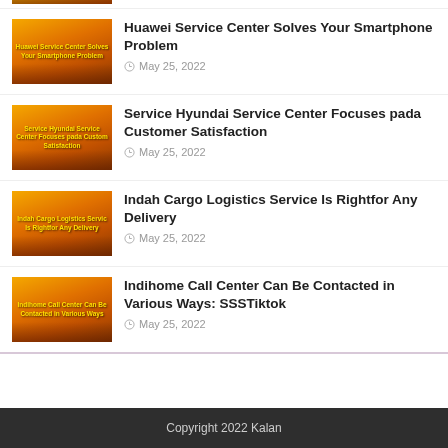[Figure (photo): Partial thumbnail of article image at top, orange/sunset tones]
Huawei Service Center Solves Your Smartphone Problem
May 25, 2022
[Figure (photo): Thumbnail with orange sunset background and yellow text: Service Hyundai Service Center Focuses pada Customer Satisfaction]
Service Hyundai Service Center Focuses pada Customer Satisfaction
May 25, 2022
[Figure (photo): Thumbnail with orange sunset background and yellow text: Indah Cargo Logistics Service Is Rightfor Any Delivery]
Indah Cargo Logistics Service Is Rightfor Any Delivery
May 25, 2022
[Figure (photo): Thumbnail with orange sunset background and yellow text: Indihome Call Center Can Be Contacted in Various Ways]
Indihome Call Center Can Be Contacted in Various Ways: SSSTiktok
May 25, 2022
Copyright 2022 Kalan